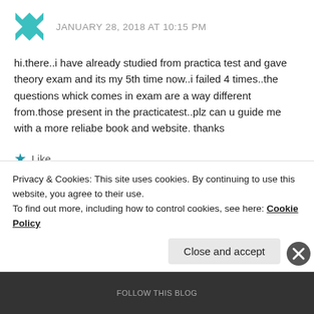JANUARY 28, 2018 AT 10:15 PM
hi.there..i have already studied from practica test and gave theory exam and its my 5th time now..i failed 4 times..the questions whick comes in exam are a way different from.those present in the practicatest..plz can u guide me with a more reliabe book and website. thanks
Like
REPLY
Privacy & Cookies: This site uses cookies. By continuing to use this website, you agree to their use.
To find out more, including how to control cookies, see here: Cookie Policy
Close and accept